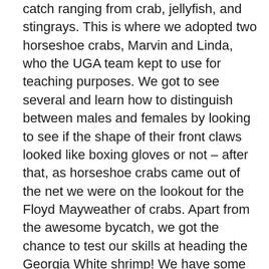catch ranging from crab, jellyfish, and stingrays. This is where we adopted two horseshoe crabs, Marvin and Linda, who the UGA team kept to use for teaching purposes. We got to see several and learn how to distinguish between males and females by looking to see if the shape of their front claws looked like boxing gloves or not – after that, as horseshoe crabs came out of the net we were on the lookout for the Floyd Mayweather of crabs. Apart from the awesome bycatch, we got the chance to test our skills at heading the Georgia White shrimp! We have some potential as future shrimp headers!
After our trip out on the water, Captain Lindsey showed us the warehouse at the MAREX where they house the TEDs. It was interesting to see the